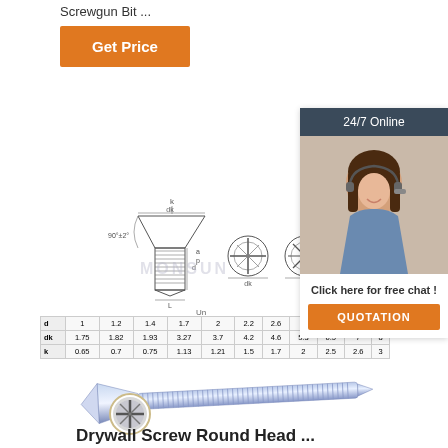Screwgun Bit ...
[Figure (other): Orange 'Get Price' button]
[Figure (other): 24/7 Online chat box with customer service representative photo and 'Click here for free chat!' text with orange QUOTATION button]
[Figure (engineering-diagram): Technical cross-section drawing of a countersunk screw showing dimensions d, dk, k, and angle 90°±2°, with two end-on views showing Phillips drive]
|  | 1 | 1.2 | 1.4 | 1.7 | 2 | 2.2 | 2.6 | 3 | 3.5 | 4 | 5... |
| --- | --- | --- | --- | --- | --- | --- | --- | --- | --- | --- | --- |
| d | 1 | 1.2 | 1.4 | 1.7 | 2 | 2.2 | 2.6 | 3 | 3.5 | 4 | 5 |
| dk | 1.75 | 1.82 | 1.93 | 3.27 | 3.7 | 4.2 | 4.6 | 5.3 | 6.5 | 7 | 8... |
| k | 0.65 | 0.7 | 0.75 | 1.13 | 1.21 | 1.5 | 1.7 | 2 | 2.5 | 2.6 | 3... |
[Figure (photo): Photo of a countersunk Phillips head screw with blue zinc plating, showing full length and head close-up in a circle]
Drywall Screw Round Head ...